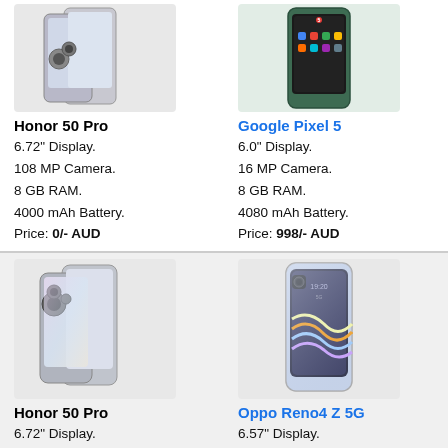[Figure (photo): Honor 50 Pro smartphone product photo]
Honor 50 Pro
6.72" Display.
108 MP Camera.
8 GB RAM.
4000 mAh Battery.
Price: 0/- AUD
[Figure (photo): Google Pixel 5 smartphone product photo]
Google Pixel 5
6.0" Display.
16 MP Camera.
8 GB RAM.
4080 mAh Battery.
Price: 998/- AUD
[Figure (photo): Honor 50 Pro smartphone product photo]
Honor 50 Pro
6.72" Display.
108 MP Camera.
8 GB RAM.
4000 mAh Battery.
[Figure (photo): Oppo Reno4 Z 5G smartphone product photo]
Oppo Reno4 Z 5G
6.57" Display.
48 MP Camera.
8 GB RAM.
4000 mAh Battery.